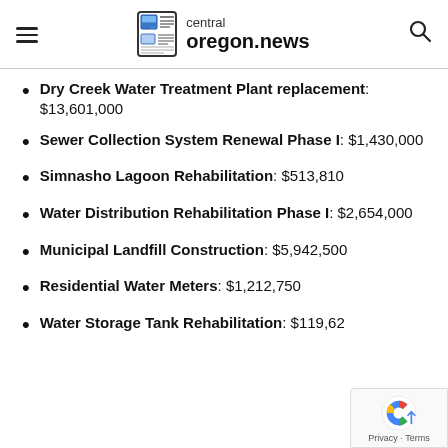central oregon.news
Dry Creek Water Treatment Plant replacement: $13,601,000
Sewer Collection System Renewal Phase I: $1,430,000
Simnasho Lagoon Rehabilitation: $513,810
Water Distribution Rehabilitation Phase I: $2,654,000
Municipal Landfill Construction: $5,942,500
Residential Water Meters: $1,212,750
Water Storage Tank Rehabilitation: $119,62